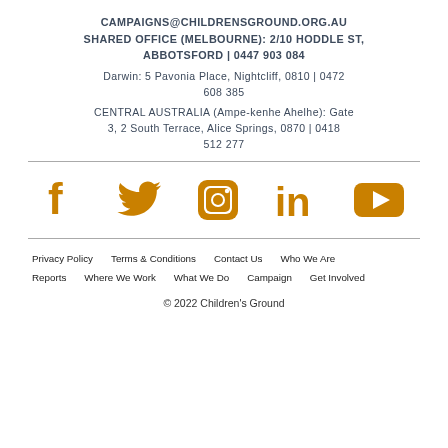CAMPAIGNS@CHILDRENSGROUND.ORG.AU
SHARED OFFICE (MELBOURNE): 2/10 HODDLE ST, ABBOTSFORD | 0447 903 084
Darwin: 5 Pavonia Place, Nightcliff, 0810 | 0472 608 385
CENTRAL AUSTRALIA (Ampe-kenhe Ahelhe): Gate 3, 2 South Terrace, Alice Springs, 0870 | 0418 512 277
[Figure (infographic): Social media icons: Facebook, Twitter, Instagram, LinkedIn, YouTube in orange/amber color]
Privacy Policy
Terms & Conditions
Contact Us
Who We Are
Reports
Where We Work
What We Do
Campaign
Get Involved
© 2022 Children's Ground